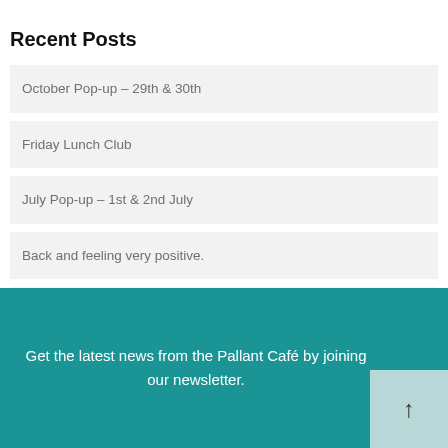Recent Posts
October Pop-up – 29th & 30th
Friday Lunch Club
July Pop-up – 1st & 2nd July
Back and feeling very positive.
First pop-up since lockdown Wednesday 26 August at Pallant Cafe – SOLD OUT
Archives
Get the latest news from the Pallant Café by joining our newsletter.